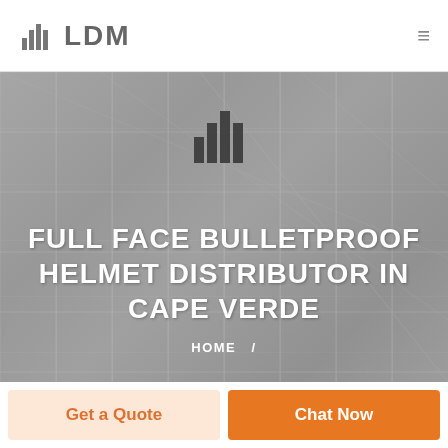LDM
[Figure (screenshot): Hero banner with gray ceiling tile background, LDM building logo icon, and white uppercase text reading FULL FACE BULLETPROOF HELMET DISTRIBUTOR IN CAPE VERDE, with HOME / breadcrumb below]
FULL FACE BULLETPROOF HELMET DISTRIBUTOR IN CAPE VERDE
HOME  /
Get a Quote
Chat Now